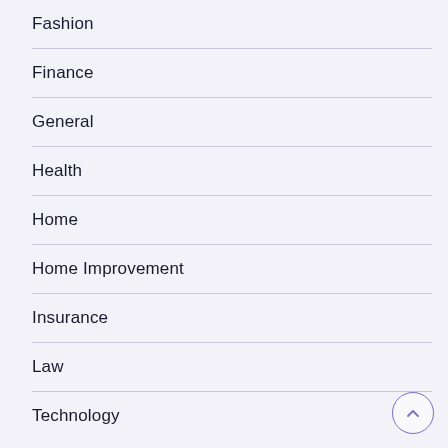Fashion
Finance
General
Health
Home
Home Improvement
Insurance
Law
Technology